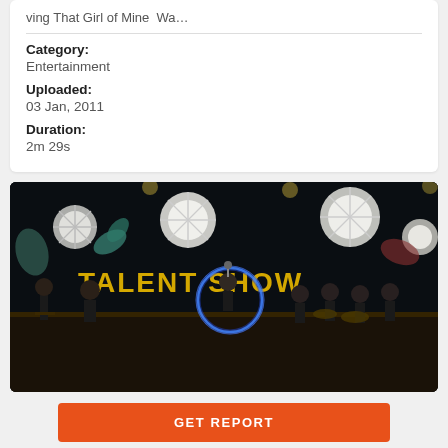ving That Girl of Mine  Wa…
Category:
Entertainment
Uploaded:
03 Jan, 2011
Duration:
2m 29s
[Figure (photo): A talent show stage scene with performers on stage, 'TALENT SHOW' text in gold letters visible in the background, decorative paper flowers/snowflakes hanging, and a glowing blue circle/hoop prop.]
GET REPORT